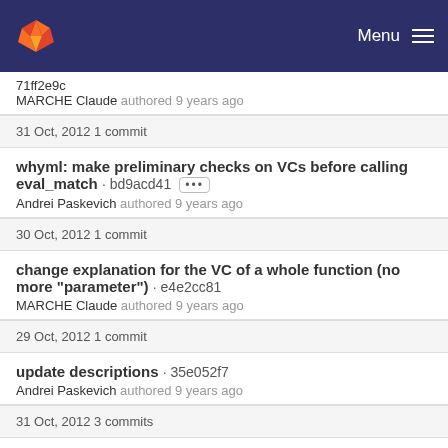Menu
71ff2e9c
MARCHE Claude authored 9 years ago
31 Oct, 2012 1 commit
whyml: make preliminary checks on VCs before calling eval_match · bd9acd41 ···
Andrei Paskevich authored 9 years ago
30 Oct, 2012 1 commit
change explanation for the VC of a whole function (no more "parameter") · e4e2cc81
MARCHE Claude authored 9 years ago
29 Oct, 2012 1 commit
update descriptions · 35e052f7
Andrei Paskevich authored 9 years ago
31 Oct, 2012 3 commits